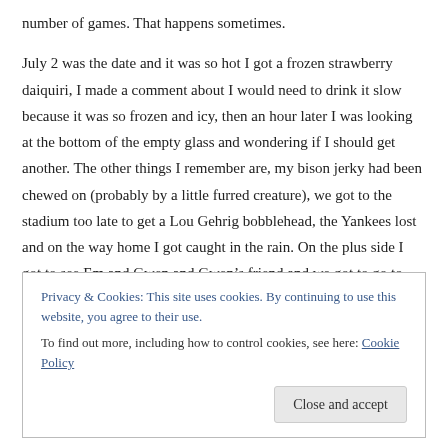number of games. That happens sometimes.
July 2 was the date and it was so hot I got a frozen strawberry daiquiri, I made a comment about I would need to drink it slow because it was so frozen and icy, then an hour later I was looking at the bottom of the empty glass and wondering if I should get another. The other things I remember are, my bison jerky had been chewed on (probably by a little furred creature), we got to the stadium too late to get a Lou Gehrig bobblehead, the Yankees lost and on the way home I got caught in the rain. On the plus side I got to see Em and Gwen and Gwen's friend and we got to go to dinner. Which is why I got caught in the rain, if I had gone straight
Privacy & Cookies: This site uses cookies. By continuing to use this website, you agree to their use.
To find out more, including how to control cookies, see here: Cookie Policy
Close and accept
I would much rather sit in a baseball stadium and watch fireworks than